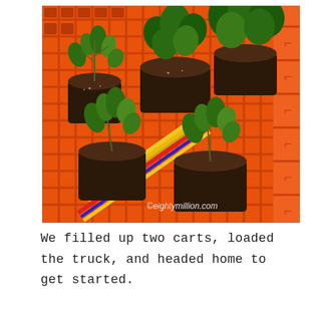[Figure (photo): Photograph of multiple green plant seedlings in black plastic pots arranged on an orange plastic lattice cart/crate. The plants appear to be tomato seedlings and basil. A yellow cart handle is visible in the lower portion. The image has a watermark reading ©eightymillion.com in the lower right corner.]
We filled up two carts, loaded the truck, and headed home to get started.